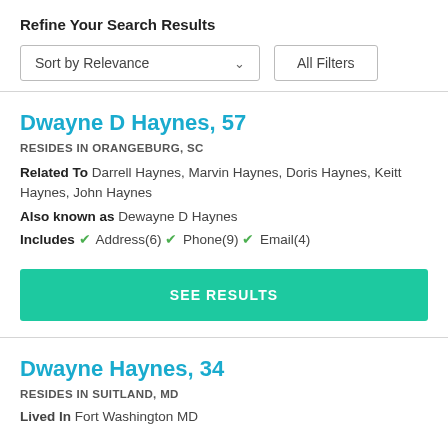Refine Your Search Results
Sort by Relevance   All Filters
Dwayne D Haynes, 57
RESIDES IN ORANGEBURG, SC
Related To Darrell Haynes, Marvin Haynes, Doris Haynes, Keitt Haynes, John Haynes
Also known as Dewayne D Haynes
Includes ✓ Address(6) ✓ Phone(9) ✓ Email(4)
SEE RESULTS
Dwayne Haynes, 34
RESIDES IN SUITLAND, MD
Lived In Fort Washington MD